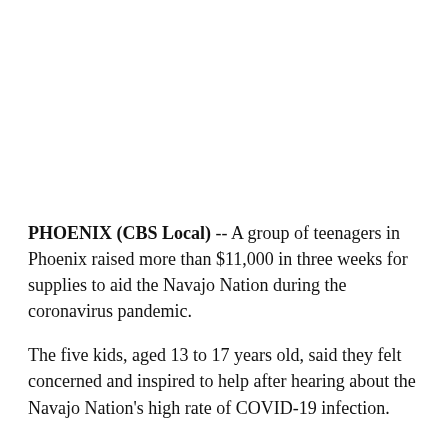PHOENIX (CBS Local) -- A group of teenagers in Phoenix raised more than $11,000 in three weeks for supplies to aid the Navajo Nation during the coronavirus pandemic.
The five kids, aged 13 to 17 years old, said they felt concerned and inspired to help after hearing about the Navajo Nation's high rate of COVID-19 infection.